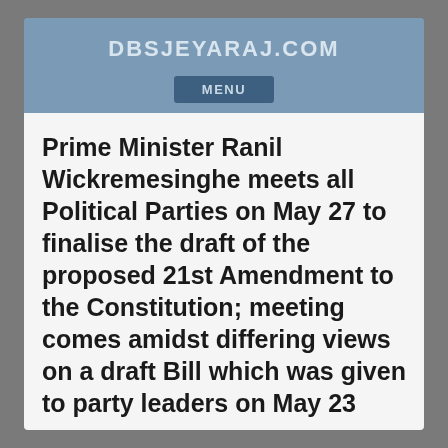DBSJEYARAJ.COM
Prime Minister Ranil Wickremesinghe meets all Political Parties on May 27 to finalise the draft of the proposed 21st Amendment to the Constitution; meeting comes amidst differing views on a draft Bill which was given to party leaders on May 23